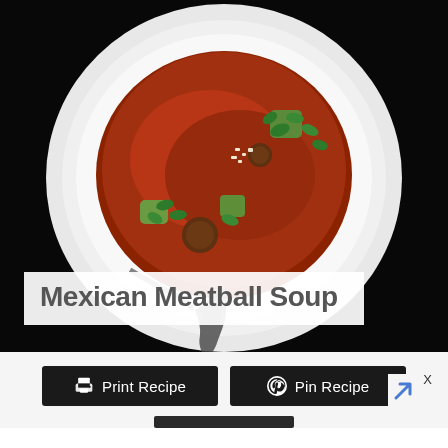[Figure (photo): Overhead photo of a white bowl containing Mexican Meatball Soup with red broth, meatballs, avocado chunks, cilantro leaves, and chopped nuts/cheese, on a black background with a decorative spoon]
Mexican Meatball Soup
[Figure (other): Print Recipe button (black, with printer icon) and Pin Recipe button (black, with Pinterest icon), plus a partial dark bar below]